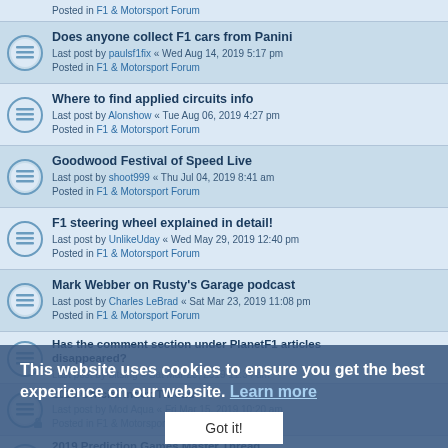Posted in F1 & Motorsport Forum
Does anyone collect F1 cars from Panini
Last post by paulsf1fix « Wed Aug 14, 2019 5:17 pm
Posted in F1 & Motorsport Forum
Where to find applied circuits info
Last post by Alonshow « Tue Aug 06, 2019 4:27 pm
Posted in F1 & Motorsport Forum
Goodwood Festival of Speed Live
Last post by shoot999 « Thu Jul 04, 2019 8:41 am
Posted in F1 & Motorsport Forum
F1 steering wheel explained in detail!
Last post by UnlikeUday « Wed May 29, 2019 12:40 pm
Posted in F1 & Motorsport Forum
Mark Webber on Rusty's Garage podcast
Last post by Charles LeBrad « Sat Mar 23, 2019 11:08 pm
Posted in F1 & Motorsport Forum
Has the comment section under PlanetF1 articles disappeared?
Last post by bitsing « Sat Mar 23, 2019 11:34 am
Posted in Off Topic
2019 Official Index Thread
Last post by Mod Aqua « Fri Mar 15, 2019 10:20 am
Posted in F1 & Motorsport Forum
2019 Prediction Games Master Thread
Last post by Mod Blue « Fri Mar 15, 2019 10:14 am
Posted in F1 & Motorsport Games
This website uses cookies to ensure you get the best experience on our website. Learn more
Got it!